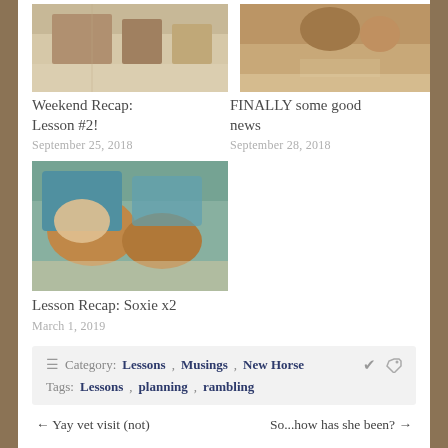[Figure (photo): Photo of horses or riding scene, top-left]
Weekend Recap: Lesson #2!
September 25, 2018
[Figure (photo): Photo of a dog or horse walking, top-right]
FINALLY some good news
September 28, 2018
[Figure (photo): Photo of two dachshund dogs on a colorful bed with pillows]
Lesson Recap: Soxie x2
March 1, 2019
Category: Lessons, Musings, New Horse   Tags: Lessons, planning, rambling
← Yay vet visit (not)
So...how has she been? →